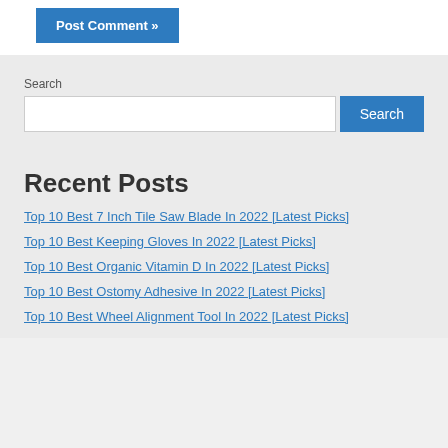Post Comment »
Search
Recent Posts
Top 10 Best 7 Inch Tile Saw Blade In 2022 [Latest Picks]
Top 10 Best Keeping Gloves In 2022 [Latest Picks]
Top 10 Best Organic Vitamin D In 2022 [Latest Picks]
Top 10 Best Ostomy Adhesive In 2022 [Latest Picks]
Top 10 Best Wheel Alignment Tool In 2022 [Latest Picks]